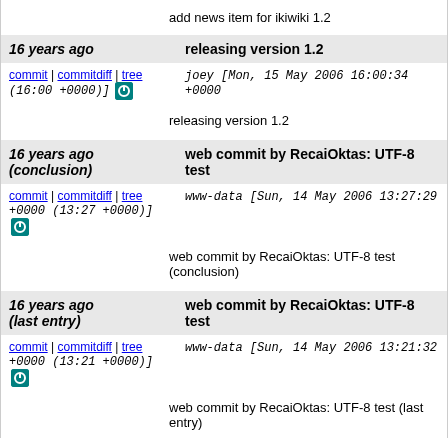add news item for ikiwiki 1.2
16 years ago — releasing version 1.2
commit | commitdiff | tree joey [Mon, 15 May 2006 16:00:34 +0000 (16:00 +0000)]
releasing version 1.2
16 years ago (conclusion) — web commit by RecaiOktas: UTF-8 test
commit | commitdiff | tree www-data [Sun, 14 May 2006 13:27:29 +0000 (13:27 +0000)]
web commit by RecaiOktas: UTF-8 test (conclusion)
16 years ago (last entry) — web commit by RecaiOktas: UTF-8 test
commit | commitdiff | tree www-data [Sun, 14 May 2006 13:21:32 +0000 (13:21 +0000)]
web commit by RecaiOktas: UTF-8 test (last entry)